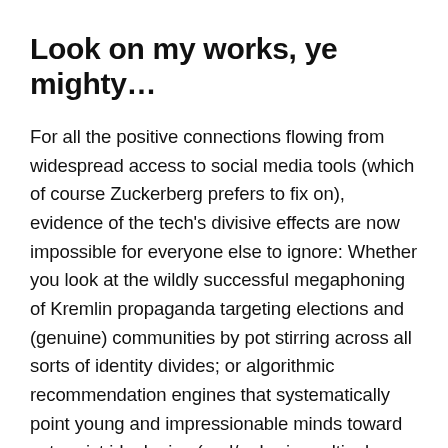Look on my works, ye mighty…
For all the positive connections flowing from widespread access to social media tools (which of course Zuckerberg prefers to fix on), evidence of the tech's divisive effects are now impossible for everyone else to ignore: Whether you look at the wildly successful megaphoning of Kremlin propaganda targeting elections and (genuine) communities by pot stirring across all sorts of identity divides; or algorithmic recommendation engines that systematically point young and impressionable minds toward extremist ideologies (and/or brain-meltingly ridiculous conspiracy theories) as an eyeball-engagement strategy for